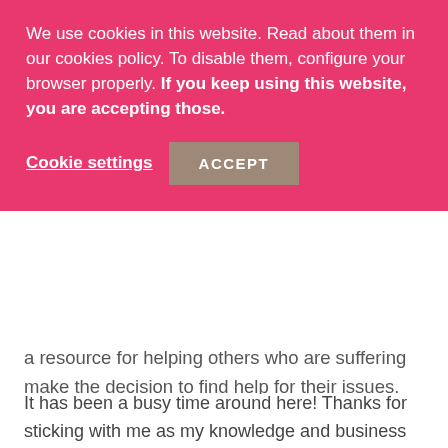We use cookies in this website. Read about them in our cookies policy. To disable them, configure your browser properly. If you keep using this website, you are accepting those.
Cookie settings   ACCEPT
a resource for helping others who are suffering make the decision to find help for their issues.
It has been a busy time around here! Thanks for sticking with me as my knowledge and business continues to grow and evolve.
– As an Amazon Associate I earn from qualifying purchases. I also may use affiliate links elsewhere in my site.
POSTED IN FOOD SENSITIVITIES, GLORIOUS ONE POT MEALS, MISC